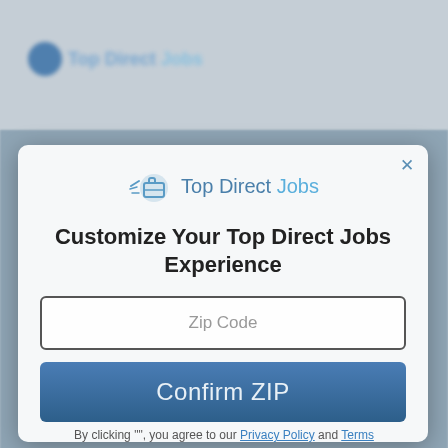[Figure (screenshot): Blurred background showing a website with Top Direct Jobs logo in top-left corner and a blurred landscape/person image behind a modal dialog]
Customize Your Top Direct Jobs Experience
Zip Code
Confirm ZIP
By clicking "", you agree to our Privacy Policy and Terms